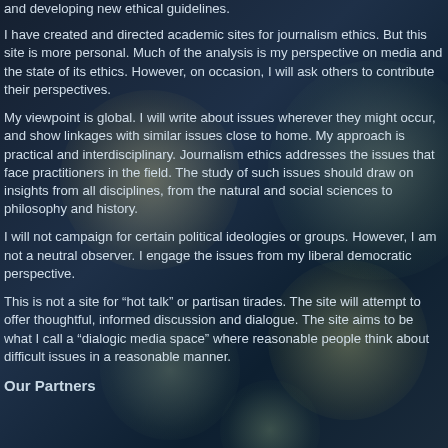and developing new ethical guidelines.
I have created and directed academic sites for journalism ethics. But this site is more personal. Much of the analysis is my perspective on media and the state of its ethics. However, on occasion, I will ask others to contribute their perspectives.
My viewpoint is global. I will write about issues wherever they might occur, and show linkages with similar issues close to home. My approach is practical and interdisciplinary. Journalism ethics addresses the issues that face practitioners in the field. The study of such issues should draw on insights from all disciplines, from the natural and social sciences to philosophy and history.
I will not campaign for certain political ideologies or groups. However, I am not a neutral observer. I engage the issues from my liberal democratic perspective.
This is not a site for “hot talk” or partisan tirades. The site will attempt to offer thoughtful, informed discussion and dialogue. The site aims to be what I call a “diaglogic media space” where reasonable people think about difficult issues in a reasonable manner.
Our Partners